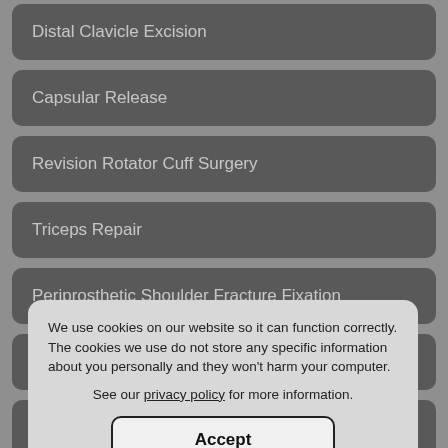Distal Clavicle Excision
Capsular Release
Revision Rotator Cuff Surgery
Triceps Repair
Periprosthetic Shoulder Fracture Fixation
Complex Shoulder Reconstruction
AC Joint Stabilization
ORIF of the Scapula Fractures
Arthroscopic Frozen Shoulder Release
We use cookies on our website so it can function correctly. The cookies we use do not store any specific information about you personally and they won't harm your computer.
See our privacy policy for more information.
Accept